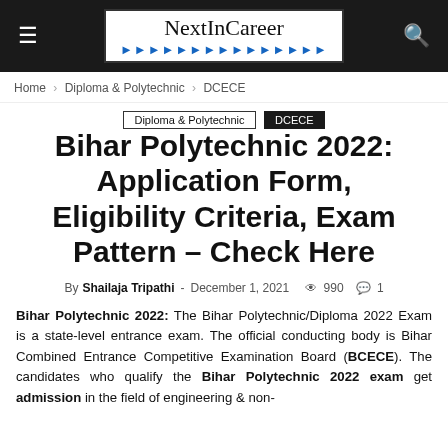NextInCareer — Diploma & Polytechnic — DCECE
Home › Diploma & Polytechnic › DCECE
Diploma & Polytechnic  DCECE
Bihar Polytechnic 2022: Application Form, Eligibility Criteria, Exam Pattern – Check Here
By Shailaja Tripathi - December 1, 2021  990  1
Bihar Polytechnic 2022: The Bihar Polytechnic/Diploma 2022 Exam is a state-level entrance exam. The official conducting body is Bihar Combined Entrance Competitive Examination Board (BCECE). The candidates who qualify the Bihar Polytechnic 2022 exam get admission in the field of engineering & non-